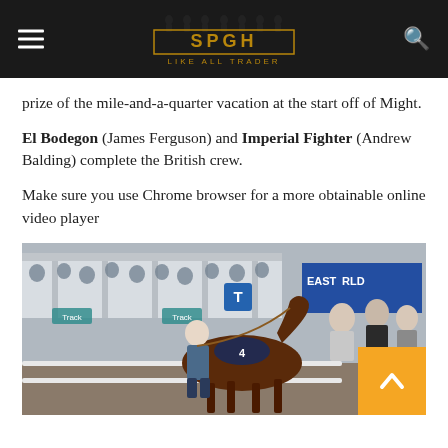SPGH - LIKE ALL TRADER (website header)
prize of the mile-and-a-quarter vacation at the start off of Might.
El Bodegon (James Ferguson) and Imperial Fighter (Andrew Balding) complete the British crew.
Make sure you use Chrome browser for a more obtainable online video player
[Figure (photo): A racehorse (bay horse, number 4) being led in the paddock at a racecourse with a large crowd of spectators in the background. The horse wears a dark blue saddlecloth with the number 4.]